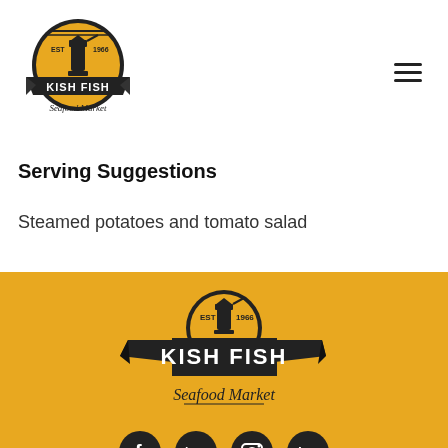[Figure (logo): Kish Fish Seafood Market logo in header — circular badge with lighthouse, EST 1966, black and gold colors]
Serving Suggestions
Steamed potatoes and tomato salad
[Figure (logo): Kish Fish Seafood Market large logo on golden/amber background — black banner with lighthouse circle badge, EST 1966, KISH FISH in large white text, Seafood Market in script below]
[Figure (logo): Four circular social media icons (Facebook, Twitter, Instagram, LinkedIn) on golden background, partially visible at bottom]